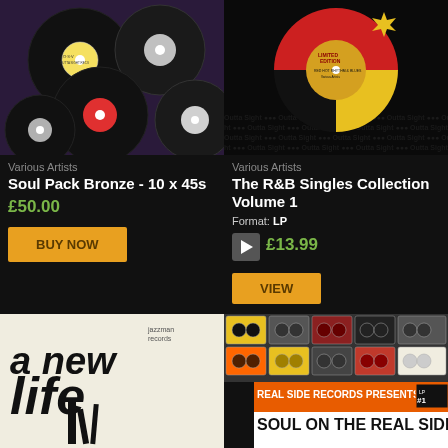[Figure (photo): Vinyl 45s records in purple/dark background - Soul Pack Bronze]
Various Artists
Soul Pack Bronze - 10 x 45s
£50.00
BUY NOW
[Figure (photo): The R&B Singles Collection Volume 1 - Limited Edition LP cover with red/yellow/black design, Outta Sight label]
Various Artists
The R&B Singles Collection Volume 1
Format: LP
£13.99
VIEW
[Figure (photo): A New Life - Jazzman Records album cover, black and white graphic design]
[Figure (photo): Grid of cassette tape images with Soul On The Real Side LP #1 banner at bottom]